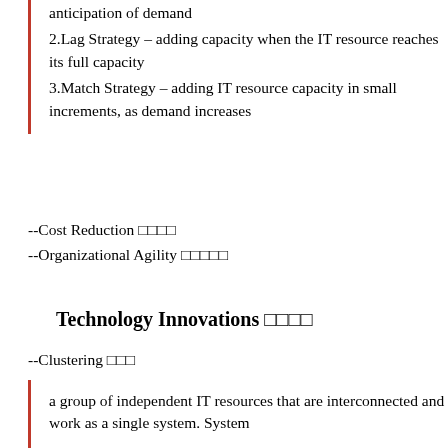1.Lead Strategy – adding capacity to IT resources in anticipation of demand
2.Lag Strategy – adding capacity when the IT resource reaches its full capacity
3.Match Strategy – adding IT resource capacity in small increments, as demand increases
--Cost Reduction 🔲🔲🔲🔲
--Organizational Agility 🔲🔲🔲🔲🔲
Technology Innovations 🔲🔲🔲🔲
--Clustering 🔲🔲🔲
a group of independent IT resources that are interconnected and work as a single system. System